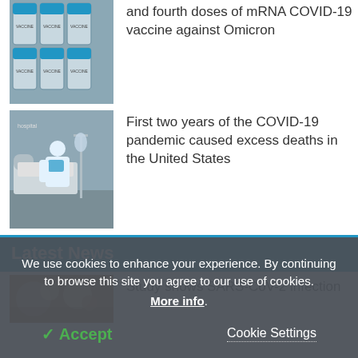[Figure (photo): Vaccine vials with blue caps arranged in rows, labeled VACCINE]
and fourth doses of mRNA COVID-19 vaccine against Omicron
[Figure (photo): Hospital scene with patient in bed and healthcare worker in protective gear]
First two years of the COVID-19 pandemic caused excess deaths in the United States
Latest News
[Figure (photo): Close-up image related to SARS-CoV-2]
Study shows SARS-CoV-2 infection
We use cookies to enhance your experience. By continuing to browse this site you agree to our use of cookies. More info.